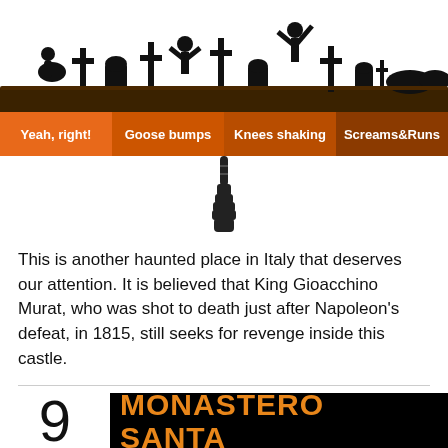[Figure (illustration): Black silhouette illustration of a graveyard scene with crosses, tombstones, and zombie/monster figures against a white sky]
[Figure (infographic): Orange navigation bar with four fright-level categories: Yeah, right! | Goose bumps | Knees shaking | Screams&Runs, with a skeletal pointing finger below indicating a level]
This is another haunted place in Italy that deserves our attention. It is believed that King Gioacchino Murat, who was shot to death just after Napoleon's defeat, in 1815, still seeks for revenge inside this castle.
9 MONASTERO SANTA